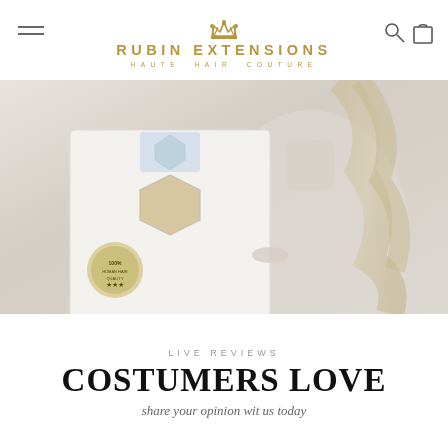RUBIN EXTENSIONS HAUTE HAIR COUTURE
[Figure (photo): Woman holding a white hexagonal hair extensions product box with a diamond pattern on top. The box has a window showing the hair extensions inside and a '100% human hair quality' seal. Woman has long blonde wavy hair and wears a light grey sleeveless top.]
LIVE REVIEWS
COSTUMERS LOVE
share your opinion wit us today